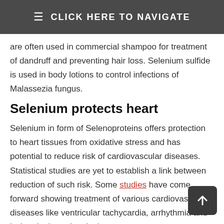≡ CLICK HERE TO NAVIGATE
are often used in commercial shampoo for treatment of dandruff and preventing hair loss. Selenium sulfide is used in body lotions to control infections of Malassezia fungus.
Selenium protects heart
Selenium in form of Selenoproteins offers protection to heart tissues from oxidative stress and has potential to reduce risk of cardiovascular diseases. Statistical studies are yet to establish a link between reduction of such risk. Some studies have come forward showing treatment of various cardiovascular diseases like ventricular tachycardia, arrhythmia and ischemia through selenium